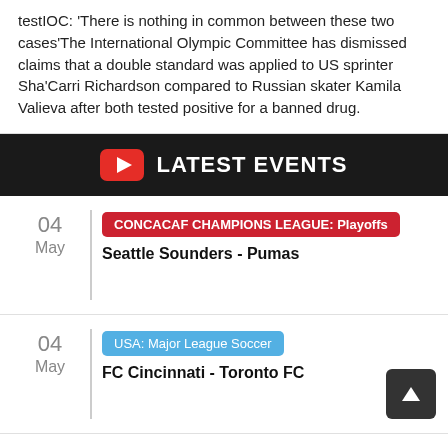testIOC: 'There is nothing in common between these two cases'The International Olympic Committee has dismissed claims that a double standard was applied to US sprinter Sha'Carri Richardson compared to Russian skater Kamila Valieva after both tested positive for a banned drug.
LATEST EVENTS
04 May | CONCACAF CHAMPIONS LEAGUE: Playoffs | Seattle Sounders - Pumas
04 May | USA: Major League Soccer | FC Cincinnati - Toronto FC